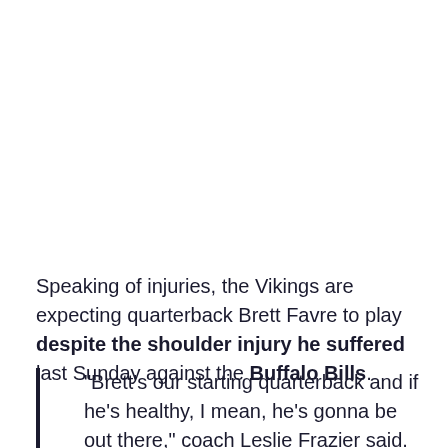Speaking of injuries, the Vikings are expecting quarterback Brett Favre to play despite the shoulder injury he suffered last Sunday against the Buffalo Bills.
"Brett's our starting quarterback and if he's healthy, I mean, he's gonna be out there," coach Leslie Frazier said. "If there's any definition of an Iron Man, it would